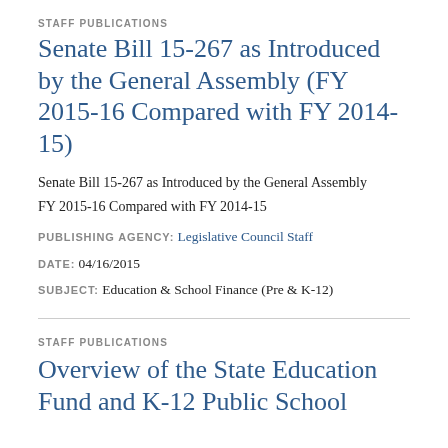STAFF PUBLICATIONS
Senate Bill 15-267 as Introduced by the General Assembly (FY 2015-16 Compared with FY 2014-15)
Senate Bill 15-267 as Introduced by the General Assembly
FY 2015-16 Compared with FY 2014-15
PUBLISHING AGENCY: Legislative Council Staff
DATE: 04/16/2015
SUBJECT: Education & School Finance (Pre & K-12)
STAFF PUBLICATIONS
Overview of the State Education Fund and K-12 Public School